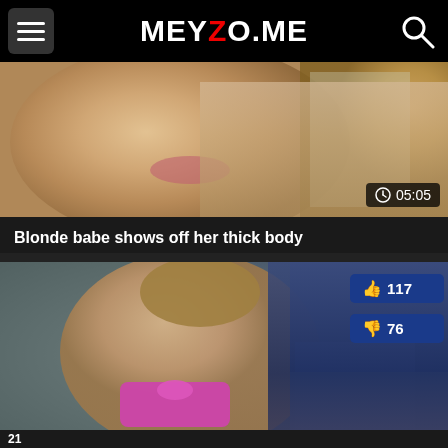MEYZO.ME
[Figure (screenshot): Blurry close-up thumbnail of a blonde woman's face]
05:05
Blonde babe shows off her thick body
[Figure (screenshot): Adult video thumbnail showing two people, woman in pink bikini bottom]
117
76